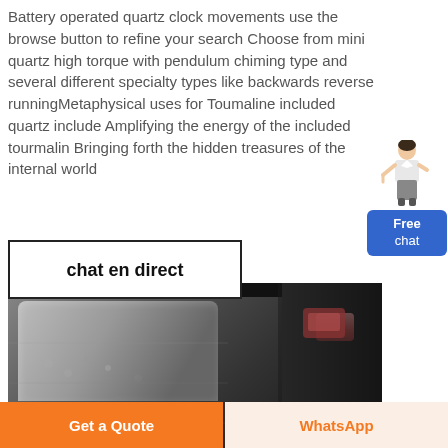Battery operated quartz clock movements use the browse button to refine your search Choose from mini quartz high torque with pendulum chiming type and several different specialty types like backwards reverse runningMetaphysical uses for Toumaline included quartz include Amplifying the energy of the included tourmalin Bringing forth the hidden treasures of the internal world
[Figure (other): Free chat widget with a female figure and blue button labeled 'Free chat']
chat en direct
[Figure (photo): Close-up photo of a dark automotive interior metal component, appears to be a car door or trunk latch area with metallic and dark surfaces]
Get a Quote
WhatsApp